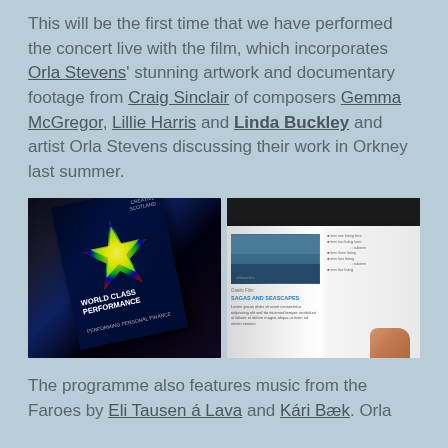This will be the first time that we have performed the concert live with the film, which incorporates Orla Stevens' stunning artwork and documentary footage from Craig Sinclair of composers Gemma McGregor, Lillie Harris and Linda Buckley and artist Orla Stevens discussing their work in Orkney last summer.
[Figure (photo): Two photos side by side: left photo shows a book/brochure cover with 'WORLD CLASS PERFORMANCE' text and a colorful star graphic on dark background; right photo shows an open book/brochure with a blue image on the left page and text on the right page, being held by a hand.]
The programme also features music from the Faroes by Eli Tausen á Lava and Kári Bæk. Orla